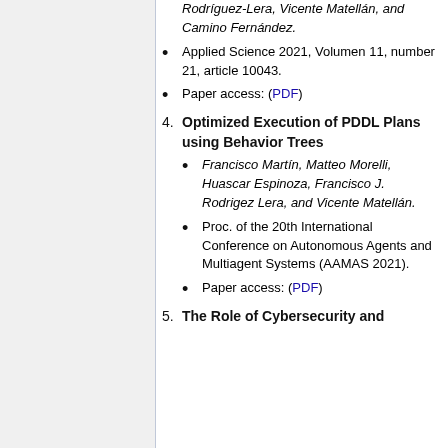Rodríguez-Lera, Vicente Matellán, and Camino Fernández.
Applied Science 2021, Volumen 11, number 21, article 10043.
Paper access: (PDF)
4. Optimized Execution of PDDL Plans using Behavior Trees
Francisco Martín, Matteo Morelli, Huascar Espinoza, Francisco J. Rodrigez Lera, and Vicente Matellán.
Proc. of the 20th International Conference on Autonomous Agents and Multiagent Systems (AAMAS 2021).
Paper access: (PDF)
5. The Role of Cybersecurity and